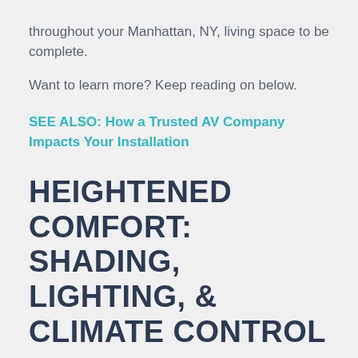throughout your Manhattan, NY, living space to be complete.
Want to learn more? Keep reading on below.
SEE ALSO: How a Trusted AV Company Impacts Your Installation
HEIGHTENED COMFORT: SHADING, LIGHTING, & CLIMATE CONTROL
A smart home technology system aims to streamline and simplify your daily lifestyle – and that also means making your day-to-day easier on you. You deserve a home environment that you are comfortable to be in all